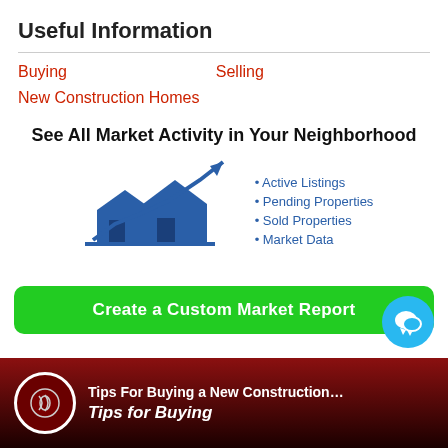Useful Information
Buying
Selling
New Construction Homes
See All Market Activity in Your Neighborhood
[Figure (illustration): Illustration of two houses with an upward trending arrow chart, in blue, representing real estate market activity]
• Active Listings
• Pending Properties
• Sold Properties
• Market Data
Create a Custom Market Report
[Figure (screenshot): Video thumbnail showing Tips For Buying a New Construction... with red background and Tips for Buying text]